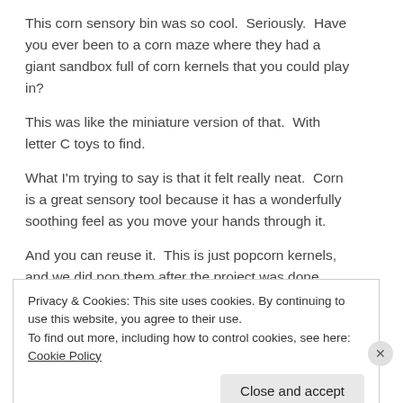This corn sensory bin was so cool.  Seriously.  Have you ever been to a corn maze where they had a giant sandbox full of corn kernels that you could play in?
This was like the miniature version of that.  With letter C toys to find.
What I'm trying to say is that it felt really neat.  Corn is a great sensory tool because it has a wonderfully soothing feel as you move your hands through it.
And you can reuse it.  This is just popcorn kernels, and we did pop them after the project was done.
Privacy & Cookies: This site uses cookies. By continuing to use this website, you agree to their use.
To find out more, including how to control cookies, see here: Cookie Policy
Close and accept